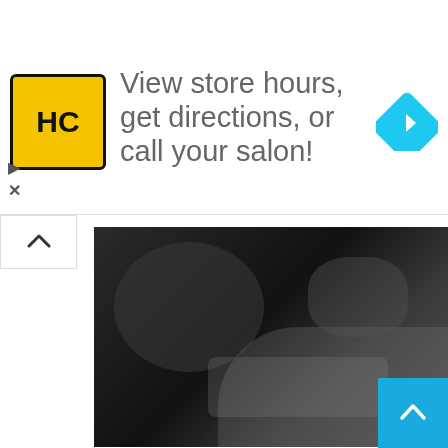[Figure (screenshot): Advertisement banner: HC logo (yellow/black), text 'View store hours, get directions, or call your salon!' with blue navigation diamond icon]
[Figure (photo): Dark close-up TV/film scene showing faces in dim light]
What's the Best Non-Season Finale TV Cliffhanger?
Brian Cronin   August 15, 2022   2
[Figure (photo): Outdoor forest scene with person holding something overhead, autumn foliage background]